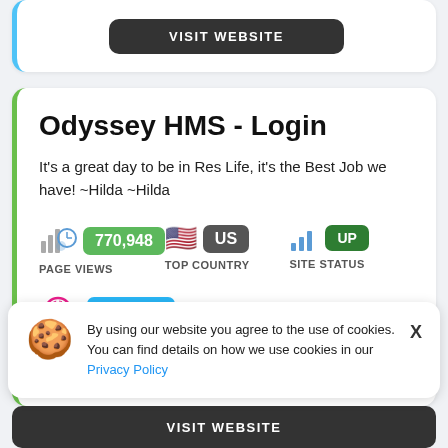[Figure (screenshot): Top card with VISIT WEBSITE button, partially visible at top of page]
Odyssey HMS - Login
It's a great day to be in Res Life, it's the Best Job we have! ~Hilda ~Hilda
PAGE VIEWS 770,948
TOP COUNTRY US
SITE STATUS UP
23h ago
By using our website you agree to the use of cookies. You can find details on how we use cookies in our Privacy Policy
[Figure (screenshot): Bottom VISIT WEBSITE button]